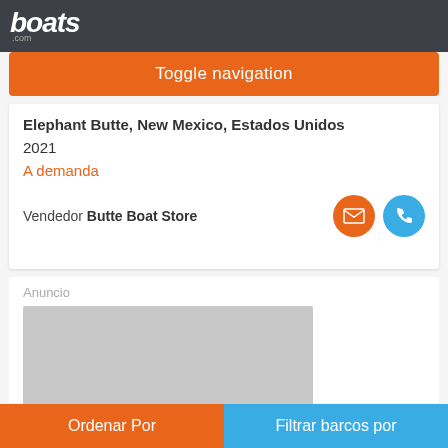boats.com
Toggle navigation
Elephant Butte, New Mexico, Estados Unidos
2021
A demanda
Vendedor Butte Boat Store
[Figure (other): Advertisement placeholder (gray rectangle)]
Ordenar Por | Filtrar barcos por